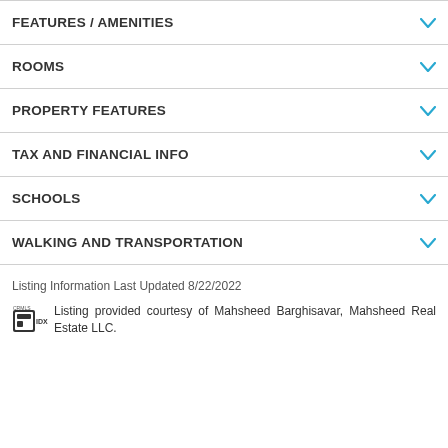FEATURES / AMENITIES
ROOMS
PROPERTY FEATURES
TAX AND FINANCIAL INFO
SCHOOLS
WALKING AND TRANSPORTATION
Listing Information Last Updated 8/22/2022
Listing provided courtesy of Mahsheed Barghisavar, Mahsheed Real Estate LLC.